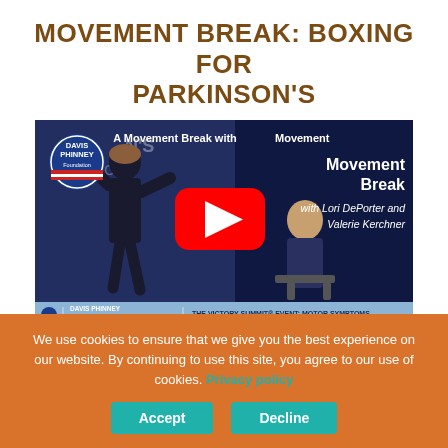MOVEMENT BREAK: BOXING FOR PARKINSON'S
[Figure (screenshot): YouTube video thumbnail showing two people boxing/exercising. Left side shows a person standing in black athletic wear doing boxing moves. Right side shows a person seated. Video overlay text reads 'A Movement Break with Movement Break with Lori DePorter and Valerie Kerchner'. Davis Phinney Foundation logo visible top left. Large red YouTube play button in center. Bottom blue bar reads 'Davis Phinney Foundation - The Victory Summit Event: Motor Symptoms'.]
We use cookies to ensure that we give you the best experience on our website. By continuing to use this site, you agree to our use of cookies. Privacy policy
Accept
Decline